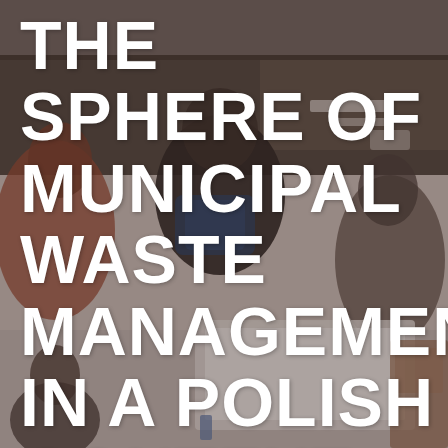[Figure (photo): Background photo of people seated at desks in a conference or classroom setting, viewed from behind, with a whiteboard/projection screen visible at the bottom. Photo has a muted, slightly warm-toned color treatment.]
THE SPHERE OF MUNICIPAL WASTE MANAGEMENT IN A POLISH CONTEXT